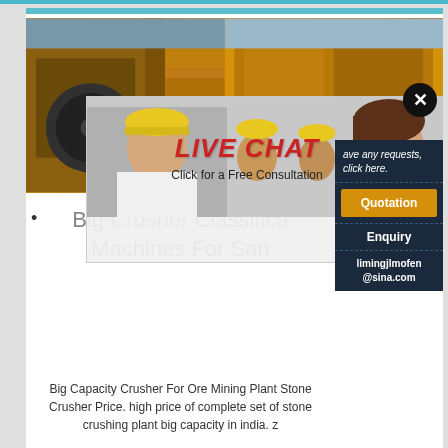[Figure (screenshot): Screenshot of a webpage showing a big crusher/machinery product page with a live chat popup overlay. The main image shows yellow industrial crusher machinery. A live chat popup with workers in hard hats is overlaid, with 'LIVE CHAT' in red italic text, 'Click for a Free Consultation' subtitle, and two buttons: 'Chat now' (red) and 'Chat later' (dark). A right sidebar panel in dark navy shows 'ave any requests, click here.' text, an orange 'Quotation' button, an 'Enquiry' section, and 'limingjlmofen@sina.com' email. A large black X close button is in the upper right.]
Big Crusher Classification Machines For San...
Big Capacity Crusher For Ore Mining Plant Stone Crusher Price. high price of complete set of stone crushing plant big capacity in india. z